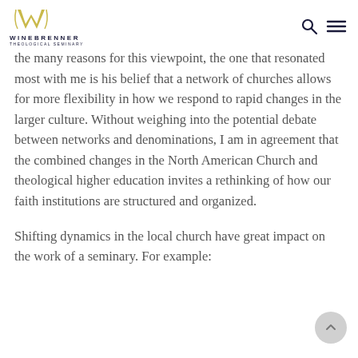Winebrenner Theological Seminary
the many reasons for this viewpoint, the one that resonated most with me is his belief that a network of churches allows for more flexibility in how we respond to rapid changes in the larger culture. Without weighing into the potential debate between networks and denominations, I am in agreement that the combined changes in the North American Church and theological higher education invites a rethinking of how our faith institutions are structured and organized.
Shifting dynamics in the local church have great impact on the work of a seminary. For example: